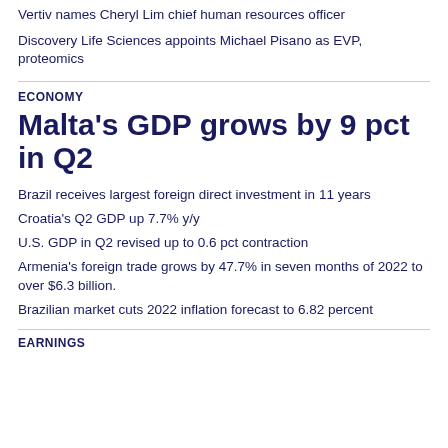Vertiv names Cheryl Lim chief human resources officer
Discovery Life Sciences appoints Michael Pisano as EVP, proteomics
ECONOMY
Malta's GDP grows by 9 pct in Q2
Brazil receives largest foreign direct investment in 11 years
Croatia's Q2 GDP up 7.7% y/y
U.S. GDP in Q2 revised up to 0.6 pct contraction
Armenia's foreign trade grows by 47.7% in seven months of 2022 to over $6.3 billion.
Brazilian market cuts 2022 inflation forecast to 6.82 percent
EARNINGS